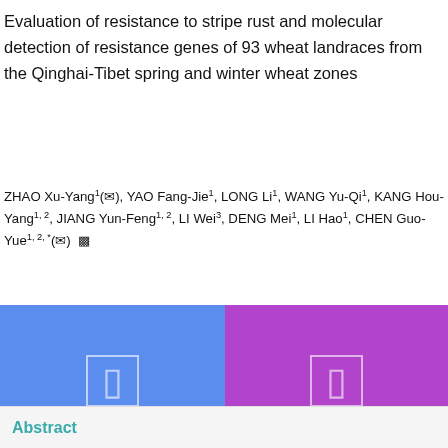Evaluation of resistance to stripe rust and molecular detection of resistance genes of 93 wheat landraces from the Qinghai-Tibet spring and winter wheat zones
ZHAO Xu-Yang¹(✉), YAO Fang-Jie¹, LONG Li¹, WANG Yu-Qi¹, KANG Hou-Yang¹·², JIANG Yun-Feng¹·², LI Wei³, DENG Mei¹, LI Hao¹, CHEN Guo-Yue¹·²·*(✉)
[Figure (other): Two download buttons: blue card labeled RichHTML389 with badge showing 11, and purple card labeled PDF with badge showing 103]
Abstract